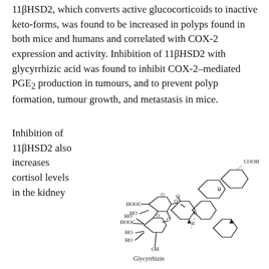11βHSD2, which converts active glucocorticoids to inactive keto-forms, was found to be increased in polyps found in both mice and humans and correlated with COX-2 expression and activity. Inhibition of 11βHSD2 with glycyrrhizic acid was found to inhibit COX-2–mediated PGE₂ production in tumours, and to prevent polyp formation, tumour growth, and metastasis in mice.
Inhibition of 11βHSD2 also increases cortisol levels in the kidney
[Figure (illustration): Chemical structure diagram of Glycyrrhizin showing a steroid-like core with a ketone group, COOH group, and two sugar units (glucuronic acid moieties) attached via oxygen linkages, with HO, HOOC, and OH substituents labeled.]